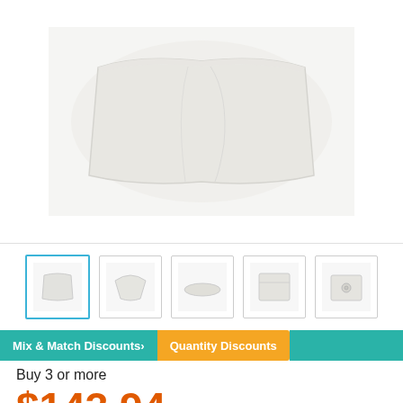[Figure (photo): Main product photo showing a white folded/wrapped item on white background]
[Figure (photo): Thumbnail image strip showing 5 product views: front folded, angled, flat side, flat open, top with drain]
Mix & Match Discounts > Quantity Discounts
Buy 3 or more
$143.94/Case
| Quantity | Price |
| --- | --- |
| Buy 1 - 2 | $148.99/Case |
1  Add to Cart